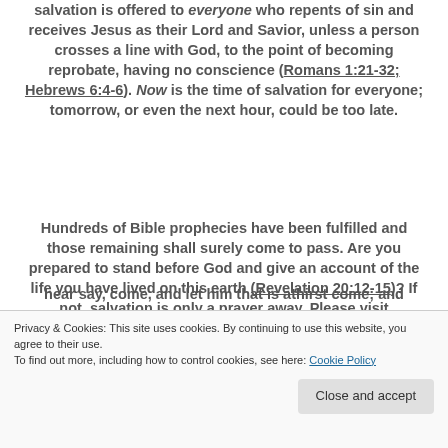salvation is offered to everyone who repents of sin and receives Jesus as their Lord and Savior, unless a person crosses a line with God, to the point of becoming reprobate, having no conscience (Romans 1:21-32; Hebrews 6:4-6). Now is the time of salvation for everyone; tomorrow, or even the next hour, could be too late.
Hundreds of Bible prophecies have been fulfilled and those remaining shall surely come to pass. Are you prepared to stand before God and give an account of the life you have lived on this earth (Revelation 20:12-15)? If not, salvation is only a prayer away. Please visit
hear say, come, and let him that is athirst come; and
Privacy & Cookies: This site uses cookies. By continuing to use this website, you agree to their use. To find out more, including how to control cookies, see here: Cookie Policy